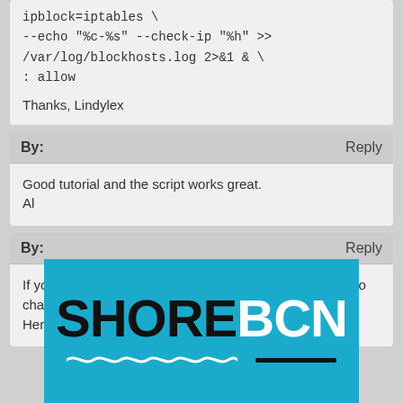ipblock=iptables \
--echo "%c-%s" --check-ip "%h" >> /var/log/blockhosts.log 2>&1 & \
: allow

Thanks, Lindylex
By:   Reply
Good tutorial and the script works great.
Al
By:   Reply
If you use a newer version of BlockHosts, you will have to change /usr/local/sbin/blockhosts a bit.
Here's the new line:
[Figure (logo): SHOREBCN logo banner on a light blue background with wave decoration and underline]